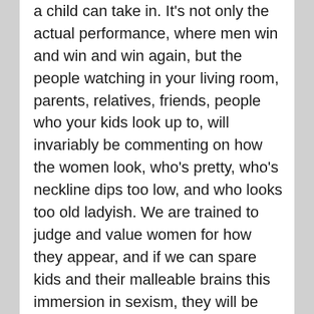a child can take in. It's not only the actual performance, where men win and win and win again, but the people watching in your living room, parents, relatives, friends, people who your kids look up to, will invariably be commenting on how the women look, who's pretty, who's neckline dips too low, and who looks too old ladyish. We are trained to judge and value women for how they appear, and if we can spare kids and their malleable brains this immersion in sexism, they will be better off for it. My advice is that if you're watching the show, as I am, not to forbid your children from joining you